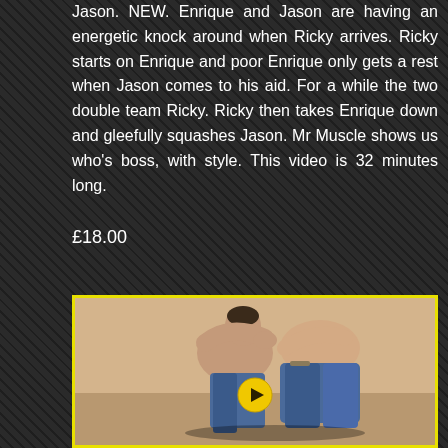Jason. NEW. Enrique and Jason are having an energetic knock around when Ricky arrives. Ricky starts on Enrique and poor Enrique only gets a rest when Jason comes to his aid. For a while the two double team Ricky. Ricky then takes Enrique down and gleefully squashes Jason. Mr Muscle shows us who's boss, with style. This video is 32 minutes long.
£18.00
[Figure (photo): Two wrestlers grappling, one shirtless man in jeans holding another in a headlock or submission hold. A yellow play button overlay is visible in the center-bottom of the image.]